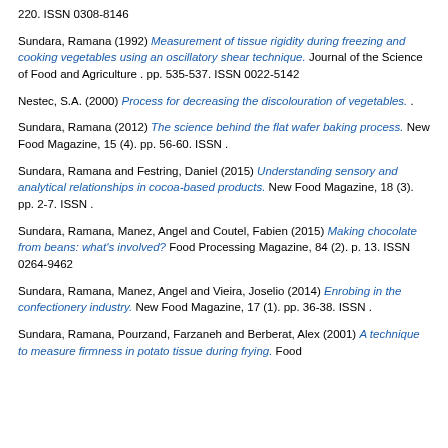220. ISSN 0308-8146
Sundara, Ramana (1992) Measurement of tissue rigidity during freezing and cooking vegetables using an oscillatory shear technique. Journal of the Science of Food and Agriculture . pp. 535-537. ISSN 0022-5142
Nestec, S.A. (2000) Process for decreasing the discolouration of vegetables. .
Sundara, Ramana (2012) The science behind the flat wafer baking process. New Food Magazine, 15 (4). pp. 56-60. ISSN .
Sundara, Ramana and Festring, Daniel (2015) Understanding sensory and analytical relationships in cocoa-based products. New Food Magazine, 18 (3). pp. 2-7. ISSN .
Sundara, Ramana, Manez, Angel and Coutel, Fabien (2015) Making chocolate from beans: what's involved? Food Processing Magazine, 84 (2). p. 13. ISSN 0264-9462
Sundara, Ramana, Manez, Angel and Vieira, Joselio (2014) Enrobing in the confectionery industry. New Food Magazine, 17 (1). pp. 36-38. ISSN .
Sundara, Ramana, Pourzand, Farzaneh and Berberat, Alex (2001) A technique to measure firmness in potato tissue during frying. Food